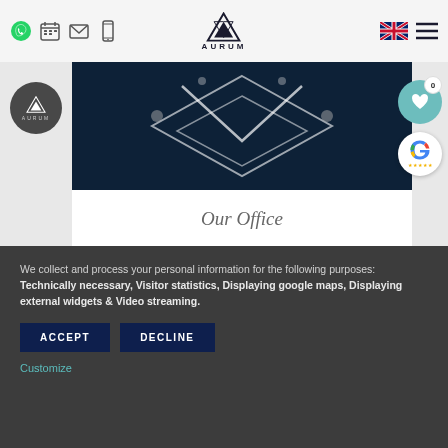Aurum website header with navigation icons, logo, language selector, and menu
[Figure (screenshot): Office image showing dark navy geometric design at top, white section with 'Our Office' text below]
Our Office
We collect and process your personal information for the following purposes: Technically necessary, Visitor statistics, Displaying google maps, Displaying external widgets & Video streaming.
ACCEPT
DECLINE
Customize